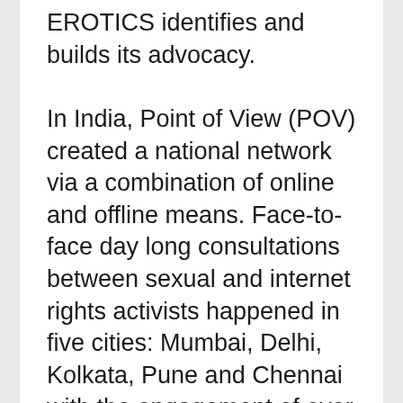EROTICS identifies and builds its advocacy.

In India, Point of View (POV) created a national network via a combination of online and offline means. Face-to-face day long consultations between sexual and internet rights activists happened in five cities: Mumbai, Delhi, Kolkata, Pune and Chennai with the engagement of over 200 activists who attended these workshops. On line, www.eroticsindia.org website, launched in October 2013, produced weekly blog posts showing the connection between sexual and internet rights on censorship of sexual speech, digital